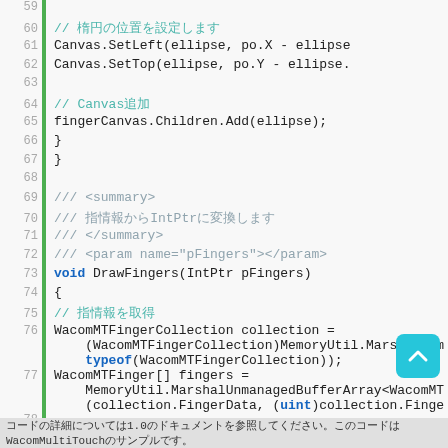[Figure (screenshot): Source code screenshot showing C# code lines 59-80 with line numbers, a green vertical bar, syntax highlighting (teal comments, blue keywords), and a scroll-to-top button.]
コードの詳細については1.0のドキュメントを参照してください。このコードはWacomMultiTouchのサンプルです。